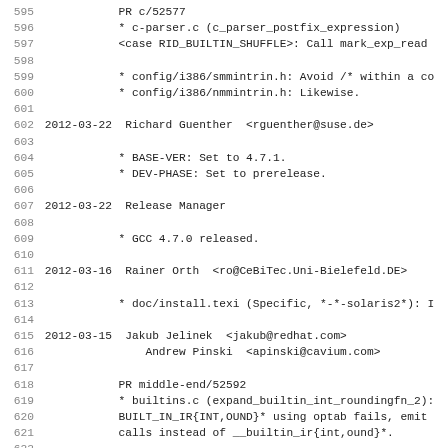595			PR c/52577
596			* c-parser.c (c_parser_postfix_expression)
597			<case RID_BUILTIN_SHUFFLE>: Call mark_exp_read
598
599			* config/i386/smmintrin.h: Avoid /* within a co
600			* config/i386/nmmintrin.h: Likewise.
601
602	2012-03-22  Richard Guenther  <rguenther@suse.de>
603
604			* BASE-VER: Set to 4.7.1.
605			* DEV-PHASE: Set to prerelease.
606
607	2012-03-22  Release Manager
608
609			* GCC 4.7.0 released.
610
611	2012-03-16  Rainer Orth  <ro@CeBiTec.Uni-Bielefeld.DE>
612
613			* doc/install.texi (Specific, *-*-solaris2*): I
614
615	2012-03-15  Jakub Jelinek  <jakub@redhat.com>
616				Andrew Pinski  <apinski@cavium.com>
617
618			PR middle-end/52592
619			* builtins.c (expand_builtin_int_roundingfn_2):
620			BUILT_IN_IR{INT,OUND}* using optab fails, emit
621			calls instead of __builtin_ir{int,ound}*.
622
623	2012-03-14  Jakub Jelinek  <jakub@redhat.com>
624
625			PR c++/52582
626			* config/rs6000/rs6000.c (call_ABI_of_interest)